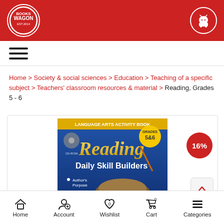BooksWagon
Home > Society & social sciences > Education > Teaching of a specific subject > Teachers' classroom resources & material > Reading, Grades 5 - 6
[Figure (screenshot): Book cover for Reading Daily Skill Builders Grades 5&6, a Language Arts Activity Book, showing the title in large gold letters, a beaver on the cover, with bullet points for Author's Purpose and Context Clues. A 16% discount badge is shown.]
Home | Account | Wishlist | Cart | Categories